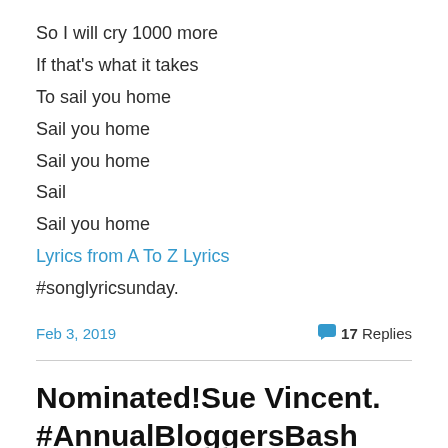So I will cry 1000 more
If that's what it takes
To sail you home
Sail you home
Sail you home
Sail
Sail you home
Lyrics from A To Z Lyrics
#songlyricsunday.
Feb 3, 2019   17 Replies
Nominated!Sue Vincent. #AnnualBloggersBash